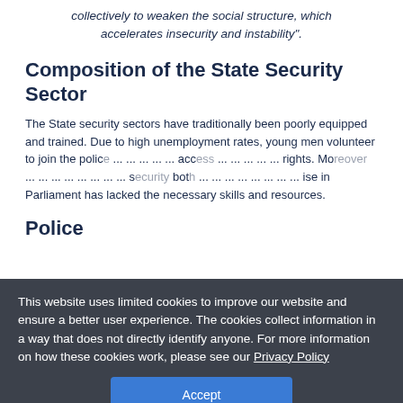collectively to weaken the social structure, which accelerates insecurity and instability".
Composition of the State Security Sector
The State security sectors have traditionally been poorly equipped and trained. Due to high unemployment rates, young men volunteer to join the police ... access ... rights. Moreover, accepting bribes ... security ... both ... rise in Parliament has lacked the necessary skills and resources.
This website uses limited cookies to improve our website and ensure a better user experience. The cookies collect information in a way that does not directly identify anyone. For more information on how these cookies work, please see our Privacy Policy
Police